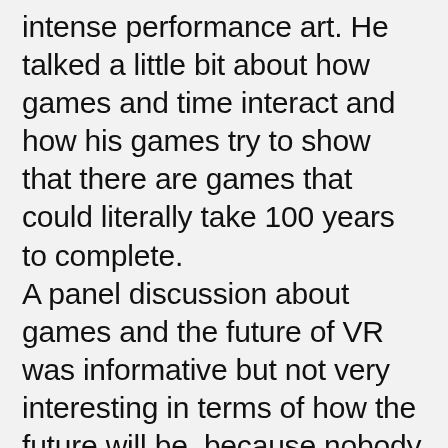intense performance art. He talked a little bit about how games and time interact and how his games try to show that there are games that could literally take 100 years to complete. A panel discussion about games and the future of VR was informative but not very interesting in terms of how the future will be, because nobody of the panelist had a real answer to the question. My personal highlight of the day was Dennis Kogels interview with Jonathan Blow. I have to admit